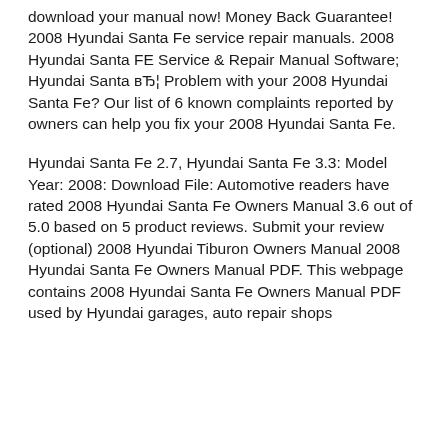download your manual now! Money Back Guarantee! 2008 Hyundai Santa Fe service repair manuals. 2008 Hyundai Santa FE Service & Repair Manual Software; Hyundai Santa вЂ¦ Problem with your 2008 Hyundai Santa Fe? Our list of 6 known complaints reported by owners can help you fix your 2008 Hyundai Santa Fe.
Hyundai Santa Fe 2.7, Hyundai Santa Fe 3.3: Model Year: 2008: Download File: Automotive readers have rated 2008 Hyundai Santa Fe Owners Manual 3.6 out of 5.0 based on 5 product reviews. Submit your review (optional) 2008 Hyundai Tiburon Owners Manual 2008 Hyundai Santa Fe Owners Manual PDF. This webpage contains 2008 Hyundai Santa Fe Owners Manual PDF used by Hyundai garages, auto repair shops